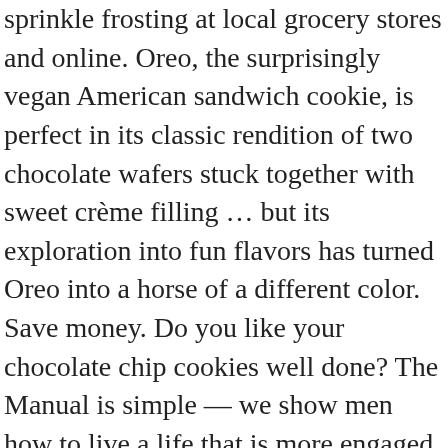sprinkle frosting at local grocery stores and online. Oreo, the surprisingly vegan American sandwich cookie, is perfect in its classic rendition of two chocolate wafers stuck together with sweet crème filling … but its exploration into fun flavors has turned Oreo into a horse of a different color. Save money. Do you like your chocolate chip cookies well done? The Manual is simple — we show men how to live a life that is more engaged. The Best Wheat Bran Cookies Recipes on Yummly | Berry Bran Cookies, Wheat Bran Cookies-made With Dry Nuts, Peanut Butter And Bran Cookies This cookie sheet is constructed out of 100% aluminum allowing the product to be durable and high quality. These cookie gifts are our best sellers. COOKIES managed to show its talent for developing partnerships through grower partnerships and brand-owned retail locations. You'll down a package and you know what, you should. Still peckish? BarcoVision sells its sensors under the brand name Loepfe, Itema its winders under the brand name Savio. SFC. A combination of